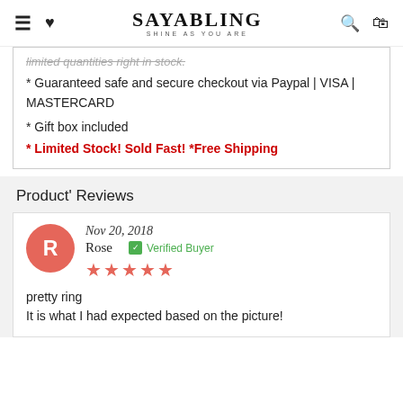SAYABLING SHINE AS YOU ARE
* Guaranteed safe and secure checkout via Paypal | VISA | MASTERCARD
* Gift box included
* Limited Stock! Sold Fast! *Free Shipping
Product' Reviews
Nov 20, 2018  Rose  Verified Buyer  ★★★★★
pretty ring
It is what I had expected based on the picture!